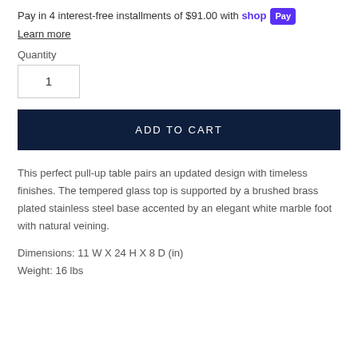Pay in 4 interest-free installments of $91.00 with shop Pay
Learn more
Quantity
1
ADD TO CART
This perfect pull-up table pairs an updated design with timeless finishes. The tempered glass top is supported by a brushed brass plated stainless steel base accented by an elegant white marble foot with natural veining.
Dimensions: 11 W X 24 H X 8 D (in)
Weight: 16 lbs